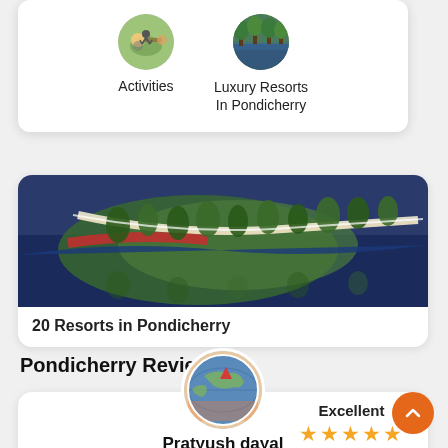[Figure (illustration): Circular icon showing cycling/outdoor activities]
Activities
[Figure (illustration): Circular icon showing luxury resort with green trees and water]
Luxury Resorts
In Pondicherry
[Figure (photo): Aerial panoramic banner photo of a resort in Pondicherry showing pools, paths, and lush greenery reflected in water]
20 Resorts in Pondicherry
Pondicherry Reviews
[Figure (photo): Circular avatar photo of reviewer Pratyush dayal, showing a globe/travel themed image]
Excellent
★★★★★
Pratyush dayal
Scuba Diving in Pondicherry | Book Now @ Flat 27% off
"One of the best experience of my life even though my ears are still blocked due to high pressure but the overall xperience was just